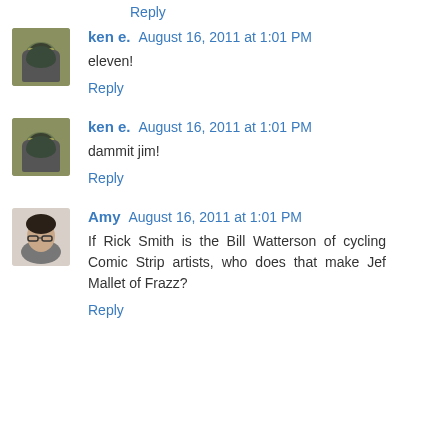Reply
ken e.  August 16, 2011 at 1:01 PM
eleven!
Reply
ken e.  August 16, 2011 at 1:01 PM
dammit jim!
Reply
Amy  August 16, 2011 at 1:01 PM
If Rick Smith is the Bill Watterson of cycling Comic Strip artists, who does that make Jef Mallet of Frazz?
Reply